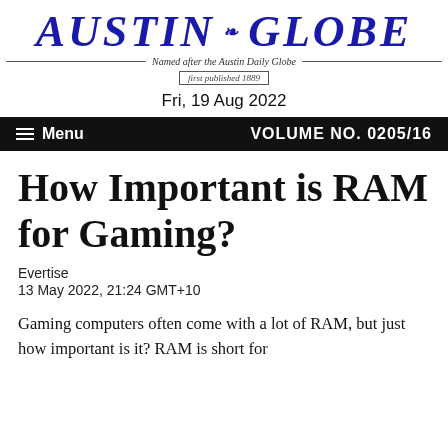AUSTIN GLOBE — Named after the Austin Daily Globe — first published 1889
Fri, 19 Aug 2022
Menu   VOLUME NO. 0205/16
How Important is RAM for Gaming?
Evertise
13 May 2022, 21:24 GMT+10
Gaming computers often come with a lot of RAM, but just how important is it? RAM is short for